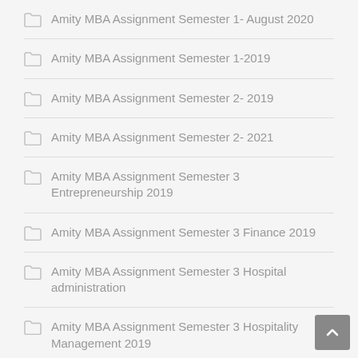Amity MBA Assignment Semester 1- August 2020
Amity MBA Assignment Semester 1-2019
Amity MBA Assignment Semester 2- 2019
Amity MBA Assignment Semester 2- 2021
Amity MBA Assignment Semester 3 Entrepreneurship 2019
Amity MBA Assignment Semester 3 Finance 2019
Amity MBA Assignment Semester 3 Hospital administration
Amity MBA Assignment Semester 3 Hospitality Management 2019
Amity MBA Assignment Semester 3 Human Resource 2019
Amity MBA Assignment Semester 3 Information